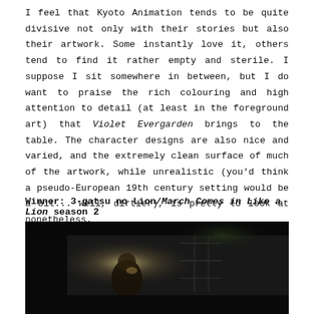I feel that Kyoto Animation tends to be quite divisive not only with their stories but also their artwork. Some instantly love it, others tend to find it rather empty and sterile. I suppose I sit somewhere in between, but I do want to praise the rich colouring and high attention to detail (at least in the foreground art) that Violet Evergarden brings to the table. The character designs are also nice and varied, and the extremely clean surface of much of the artwork, while unrealistic (you'd think a pseudo-European 19th century setting would be a bit... well, dirtier), is pretty to look at nonetheless.
Winner: 3-gatsu no Lion/March Comes in Like a Lion season 2
[Figure (photo): Dark atmospheric scene, dimly lit with a figure visible in shadow, appears to be from anime 3-gatsu no Lion (March Comes in Like a Lion)]